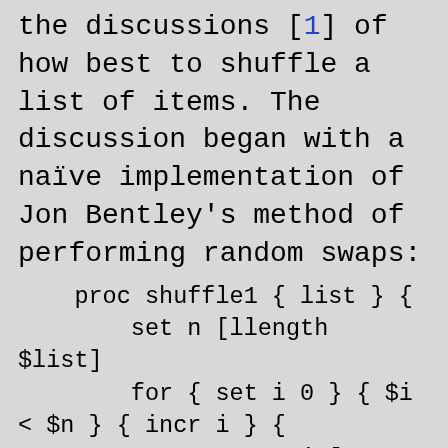the discussions [1] of how best to shuffle a list of items. The discussion began with a naïve implementation of Jon Bentley's method of performing random swaps:
proc shuffle1 { list } {
        set n [llength $list]
        for { set i 0 } { $i < $n } { incr i } {
                set j [expr {int(rand()*$n)}]
                set temp [lindex $list $j]
                set list
[l...